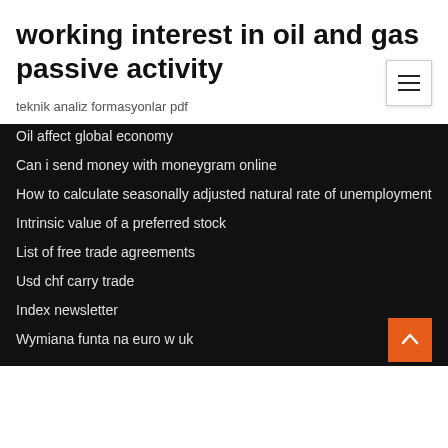working interest in oil and gas passive activity
teknik analiz formasyonlar pdf
Oil affect global economy
Can i send money with moneygram online
How to calculate seasonally adjusted natural rate of unemployment
Intrinsic value of a preferred stock
List of free trade agreements
Usd chf carry trade
Index newsletter
Wymiana funta na euro w uk